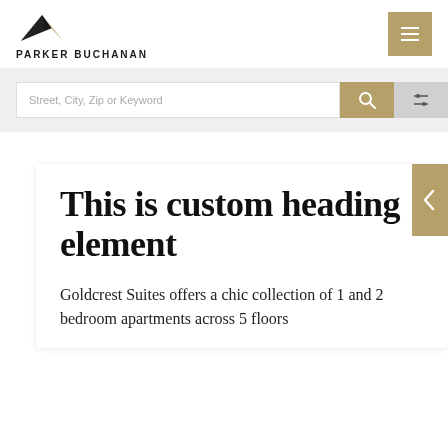[Figure (logo): Parker Buchanan logo with angular mountain/arrow mark above text]
PARKER BUCHANAN
[Figure (other): Hamburger menu button (three horizontal lines on gold/tan background)]
[Figure (other): Search bar with placeholder text 'Street, City, Zip or Keyword', gold search button, and gray filter/sliders button]
This is custom heading element
Goldcrest Suites offers a chic collection of 1 and 2 bedroom apartments across 5 floors